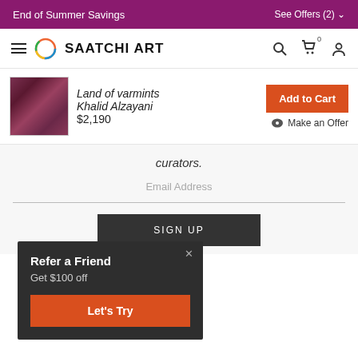End of Summer Savings    See Offers (2)
[Figure (logo): Saatchi Art logo with hamburger menu, circular multicolor logo icon, and navigation icons (search, cart, user)]
Land of varmints
Khalid Alzayani
$2,190
Add to Cart
Make an Offer
curators.
Email Address
SIGN UP
Refer a Friend
Get $100 off
Let's Try